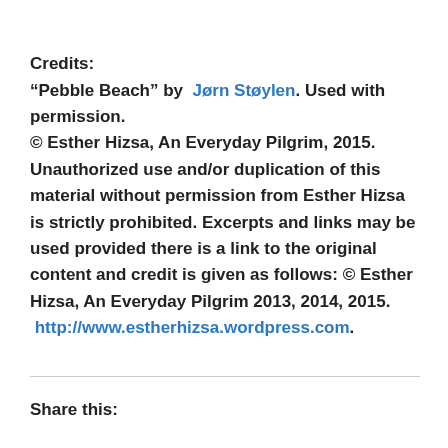Credits:
“Pebble Beach” by Jørn Støylen. Used with permission.
© Esther Hizsa, An Everyday Pilgrim, 2015. Unauthorized use and/or duplication of this material without permission from Esther Hizsa is strictly prohibited. Excerpts and links may be used provided there is a link to the original content and credit is given as follows: © Esther Hizsa, An Everyday Pilgrim 2013, 2014, 2015.
 http://www.estherhizsa.wordpress.com.
Share this: